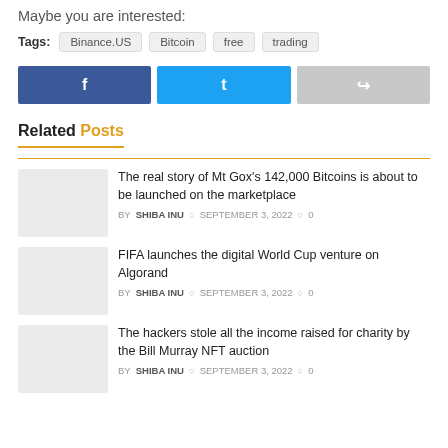Maybe you are interested:
Tags: Binance.US  Bitcoin  free  trading
[Figure (infographic): Three social share buttons: Facebook (dark blue with f icon), Twitter (light blue with bird icon), Share (gray with arrow icon)]
Related Posts
The real story of Mt Gox’s 142,000 Bitcoins is about to be launched on the marketplace
BY SHIBA INU  SEPTEMBER 3, 2022  0
FIFA launches the digital World Cup venture on Algorand
BY SHIBA INU  SEPTEMBER 3, 2022  0
The hackers stole all the income raised for charity by the Bill Murray NFT auction
BY SHIBA INU  SEPTEMBER 3, 2022  0